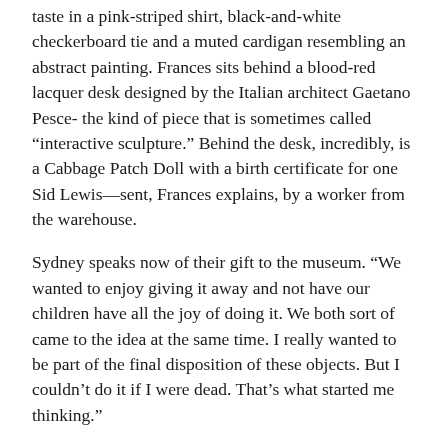taste in a pink-striped shirt, black-and-white checkerboard tie and a muted cardigan resembling an abstract painting. Frances sits behind a blood-red lacquer desk designed by the Italian architect Gaetano Pesce- the kind of piece that is sometimes called “interactive sculpture.” Behind the desk, incredibly, is a Cabbage Patch Doll with a birth certificate for one Sid Lewis—sent, Frances explains, by a worker from the warehouse.
Sydney speaks now of their gift to the museum. “We wanted to enjoy giving it away and not have our children have all the joy of doing it. We both sort of came to the idea at the same time. I really wanted to be part of the final disposition of these objects. But I couldn’t do it if I were dead. That’s what started me thinking.”
“You made the decision in two minutes,” Frances chimes in. “You just woke up one morning and decid-ed. Just like you did when you decided to start Best.”